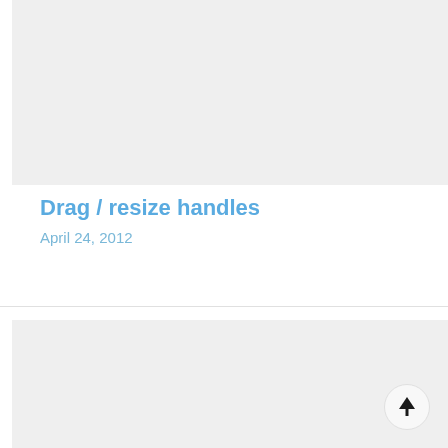[Figure (other): Gray placeholder image block at top of page]
Drag / resize handles
April 24, 2012
[Figure (other): Gray placeholder image block at bottom of page with scroll-to-top circular button in bottom right corner]